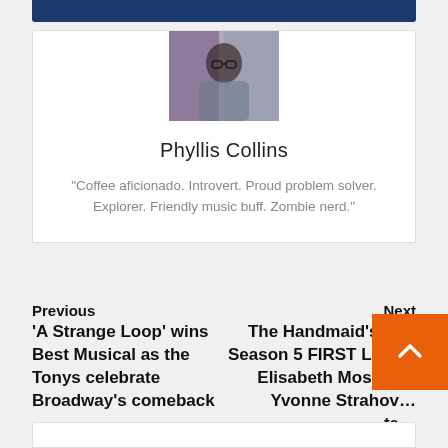[Figure (photo): Profile photo of Phyllis Collins, a woman with dark curly hair and glasses, smiling]
Phyllis Collins
“Coffee aficionado. Introvert. Proud problem solver. Explorer. Friendly music buff. Zombie nerd.”
Previous
‘A Strange Loop’ wins Best Musical as the Tonys celebrate Broadway’s comeback
Next
The Handmaid’s Tale Season 5 FIRST LOOK: Elisabeth Moss and Yvonne Strahov… te…